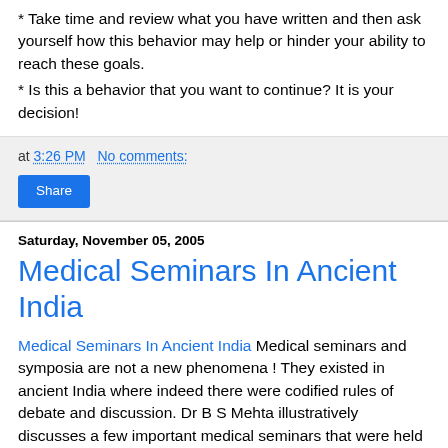* Take time and review what you have written and then ask yourself how this behavior may help or hinder your ability to reach these goals.
* Is this a behavior that you want to continue? It is your decision!
at 3:26 PM   No comments:
Share
Saturday, November 05, 2005
Medical Seminars In Ancient India
Medical Seminars In Ancient India Medical seminars and symposia are not a new phenomena ! They existed in ancient India where indeed there were codified rules of debate and discussion. Dr B S Mehta illustratively discusses a few important medical seminars that were held in ancient India. Given the scholarly tenor of the debates, he writes, these deserve to be included in medical encyclopaedias. Indian medicine has a long tradition and a history we can be